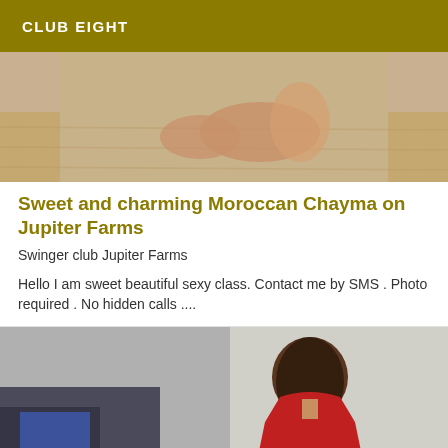CLUB EIGHT
[Figure (photo): Photo showing feet/legs on a wooden floor background]
Sweet and charming Moroccan Chayma on Jupiter Farms
Swinger club Jupiter Farms
Hello I am sweet beautiful sexy class. Contact me by SMS . Photo required . No hidden calls ....
[Figure (photo): Photo of a woman in a red dress, with a watermark text visible in the lower right]